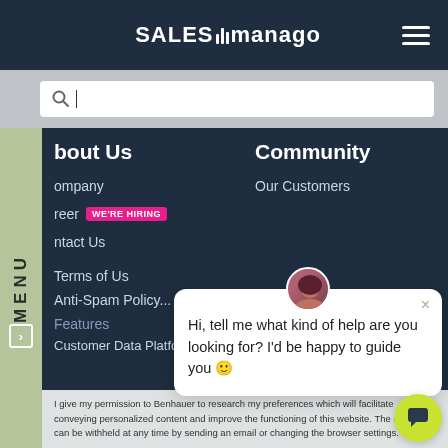SALESmanago
[Figure (screenshot): SALESmanago website navigation menu screenshot showing search bar, About Us and Community columns, MENU tab, career and contact links, chat popup with message 'Hi, tell me what kind of help are you looking for? I'd be happy to guide you', consent text overlay, and chat button]
About Us
Community
Company
Our Customers
Career  WE'RE HIRING
Contact Us
Terms of Us
Anti-Spam Policy...
Features
Solutions
Customer Data Platform
Roadmap
Hi, tell me what kind of help are you looking for? I'd be happy to guide you 🙂
I give my permission to Benhauer to research my preferences which will facilitate conveying personalized content and improve the functioning of this website. The consent can be withheld at any time by sending an email or changing the browser settings.